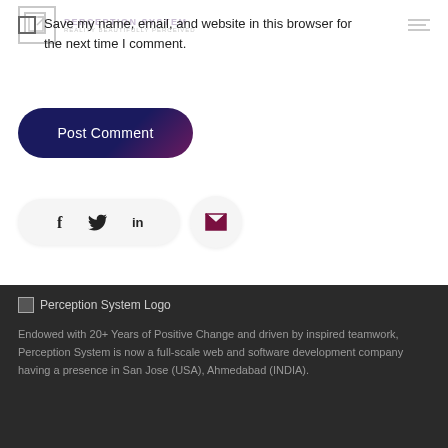PERCEPTION SYSTEM — REALITY BEAUTIFULLY PERCEIVED
Save my name, email, and website in this browser for the next time I comment.
Post Comment
[Figure (other): Social share icons: Facebook, Twitter, LinkedIn, and email envelope icons in rounded pill and circle containers]
[Figure (logo): Perception System Logo — small image icon with broken image placeholder]
Endowed with 20+ Years of Positive Change and driven by inspired teamwork, Perception System is now a full-scale web and software development company having a presence in San Jose (USA), Ahmedabad (INDIA).